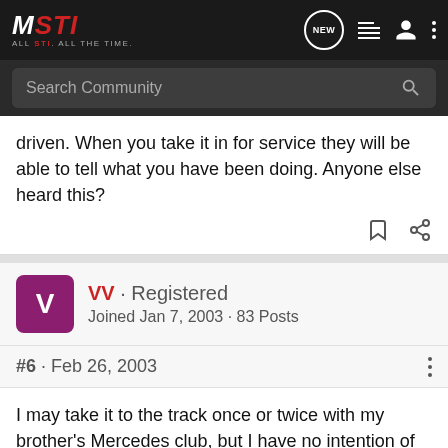IWSTI ALL STI. ALL THE TIME. [Navigation icons: NEW, list, user, more]
Search Community
driven. When you take it in for service they will be able to tell what you have been doing. Anyone else heard this?
VV · Registered
Joined Jan 7, 2003 · 83 Posts
#6 · Feb 26, 2003
I may take it to the track once or twice with my brother's Mercedes club, but I have no intention of racing it. Of course I will drive it over Berthoud pass to go to Winter Park, Loveland Pass for A-Basin, and I'll take US 6 through the canon every time.